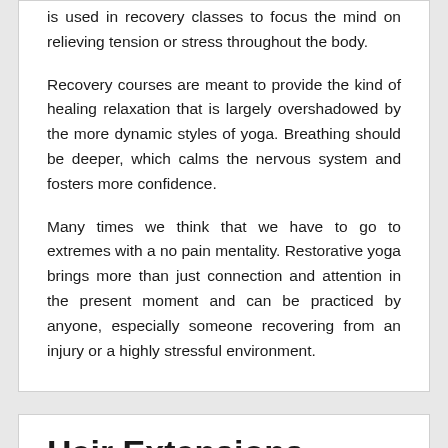is used in recovery classes to focus the mind on relieving tension or stress throughout the body.
Recovery courses are meant to provide the kind of healing relaxation that is largely overshadowed by the more dynamic styles of yoga. Breathing should be deeper, which calms the nervous system and fosters more confidence.
Many times we think that we have to go to extremes with a no pain mentality. Restorative yoga brings more than just connection and attention in the present moment and can be practiced by anyone, especially someone recovering from an injury or a highly stressful environment.
Hair Extensions Salon In Toronto – Things You